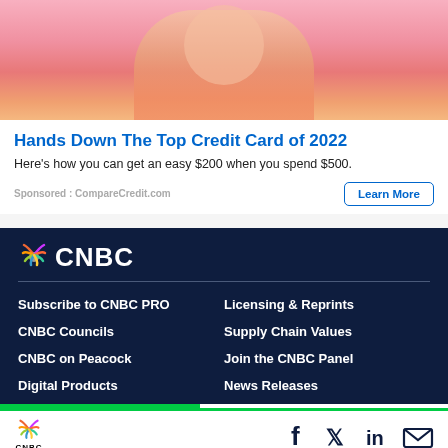[Figure (photo): A person holding a credit card against a pink background, photo cropped to show partial face and torso wearing orange]
Hands Down The Top Credit Card of 2022
Here's how you can get an easy $200 when you spend $500.
Sponsored : CompareCredit.com
[Figure (logo): CNBC logo with peacock icon, white text on dark navy background]
Subscribe to CNBC PRO
Licensing & Reprints
CNBC Councils
Supply Chain Values
CNBC on Peacock
Join the CNBC Panel
Digital Products
News Releases
CNBC logo and social media icons: Facebook, Twitter, LinkedIn, Email